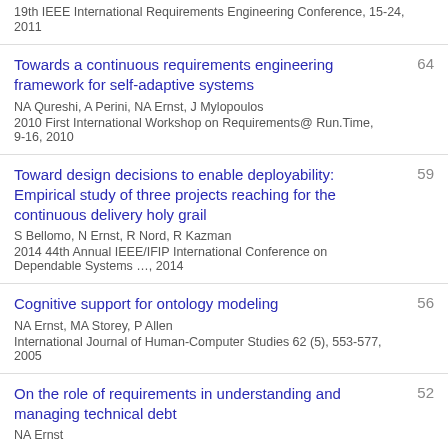19th IEEE International Requirements Engineering Conference, 15-24, 2011
Towards a continuous requirements engineering framework for self-adaptive systems
NA Qureshi, A Perini, NA Ernst, J Mylopoulos
2010 First International Workshop on Requirements@ Run.Time, 9-16, 2010
64
Toward design decisions to enable deployability: Empirical study of three projects reaching for the continuous delivery holy grail
S Bellomo, N Ernst, R Nord, R Kazman
2014 44th Annual IEEE/IFIP International Conference on Dependable Systems …, 2014
59
Cognitive support for ontology modeling
NA Ernst, MA Storey, P Allen
International Journal of Human-Computer Studies 62 (5), 553-577, 2005
56
On the role of requirements in understanding and managing technical debt
NA Ernst
52